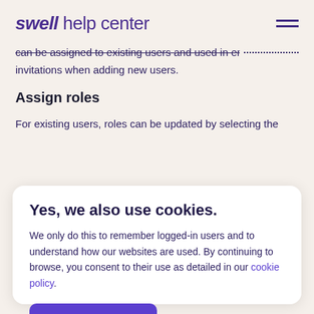swell help center
can be assigned to existing users and used in email invitations when adding new users.
Assign roles
For existing users, roles can be updated by selecting the
Yes, we also use cookies.
We only do this to remember logged-in users and to understand how our websites are used. By continuing to browse, you consent to their use as detailed in our cookie policy.
Okay, that's fine